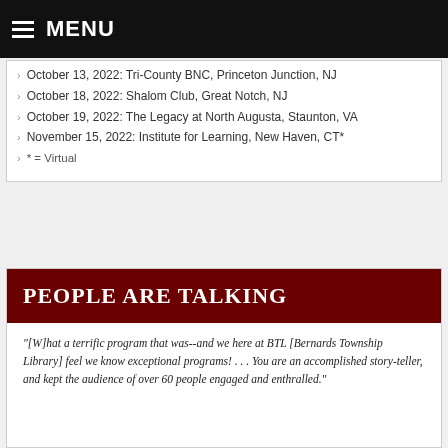MENU
October 13, 2022: Tri-County BNC, Princeton Junction, NJ
October 18, 2022: Shalom Club, Great Notch, NJ
October 19, 2022: The Legacy at North Augusta, Staunton, VA
November 15, 2022: Institute for Learning, New Haven, CT*
* = Virtual
PEOPLE ARE TALKING
"[W]hat a terrific program that was--and we here at BTL [Bernards Township Library] feel we know exceptional programs! . . . You are an accomplished story-teller, and kept the audience of over 60 people engaged and enthralled."